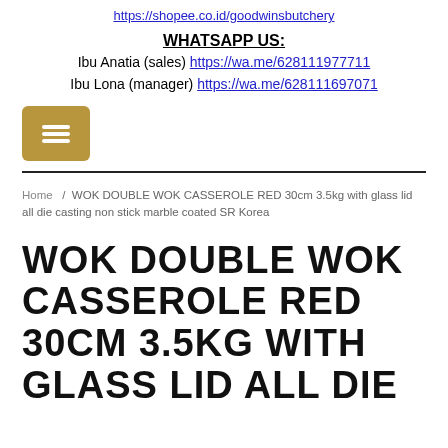https://shopee.co.id/goodwinsbutchery
WHATSAPP US:
Ibu Anatia (sales) https://wa.me/628111977711
Ibu Lona (manager) https://wa.me/628111697071
[Figure (other): Hamburger menu button (three horizontal lines) on a tan/gold rounded square background]
Home / WOK DOUBLE WOK CASSEROLE RED 30cm 3.5kg with glass lid all die casting non stick marble coated SR Korea
WOK DOUBLE WOK CASSEROLE RED 30CM 3.5KG WITH GLASS LID ALL DIE